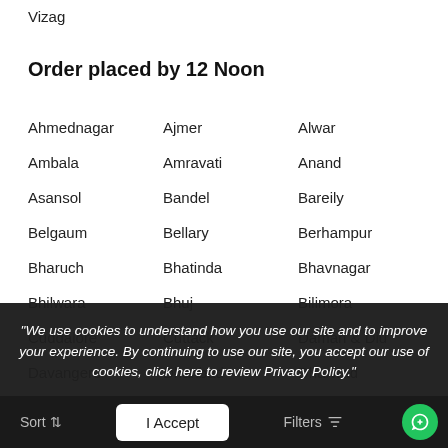Vizag
Order placed by 12 Noon
Ahmednagar
Ajmer
Alwar
Ambala
Amravati
Anand
Asansol
Bandel
Bareily
Belgaum
Bellary
Berhampur
Bharuch
Bhatinda
Bhavnagar
Bhilwara
Bhuj
Bilimora
Cuddalore
Cuttack
Daman & Diu
Davangere
Dhanbad
Dharwad
Dhule
Dindigul
Erode
Gandhidham
Ganganagar
Gorakhpur
"We use cookies to understand how you use our site and to improve your experience. By continuing to use our site, you accept our use of cookies, click here to review Privacy Policy."
Sort  I Accept  Filters